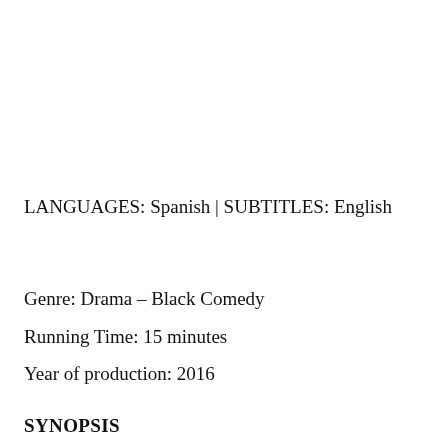LANGUAGES: Spanish | SUBTITLES: English
Genre: Drama – Black Comedy
Running Time: 15 minutes
Year of production: 2016
SYNOPSIS